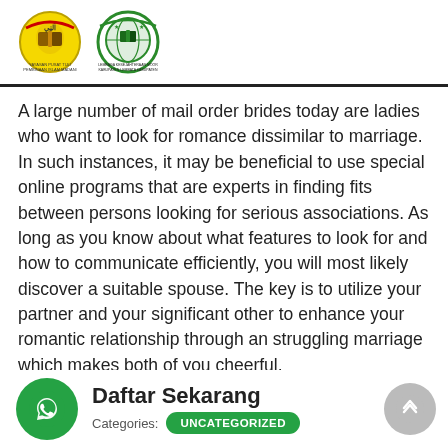[Figure (logo): Two institutional logos side by side: a yellow circular logo on the left and a green circular logo on the right, with Indonesian text beneath each.]
A large number of mail order brides today are ladies who want to look for romance dissimilar to marriage. In such instances, it may be beneficial to use special online programs that are experts in finding fits between persons looking for serious associations. As long as you know about what features to look for and how to communicate efficiently, you will most likely discover a suitable spouse. The key is to utilize your partner and your significant other to enhance your romantic relationship through an struggling marriage which makes both of you cheerful.
Daftar Sekarang
Categories: UNCATEGORIZED